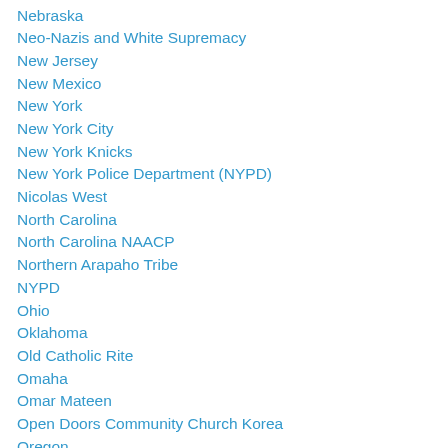Nebraska
Neo-Nazis and White Supremacy
New Jersey
New Mexico
New York
New York City
New York Knicks
New York Police Department (NYPD)
Nicolas West
North Carolina
North Carolina NAACP
Northern Arapaho Tribe
NYPD
Ohio
Oklahoma
Old Catholic Rite
Omaha
Omar Mateen
Open Doors Community Church Korea
Oregon